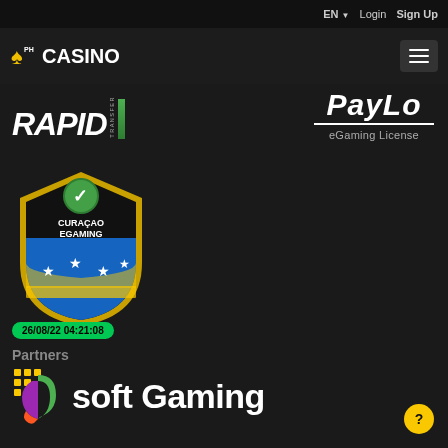EN  Login  Sign Up
[Figure (logo): PH Casino logo with spade and clover icon]
[Figure (logo): Hamburger menu icon]
[Figure (logo): RAPID TRANSFER logo in italic white text with green bar]
[Figure (logo): PayLo eGaming License logo]
[Figure (logo): Curacao eGaming shield badge with flag and stars]
26/08/22  04:21:08
Partners
[Figure (logo): Soft Gaming partner logo with colorful icon]